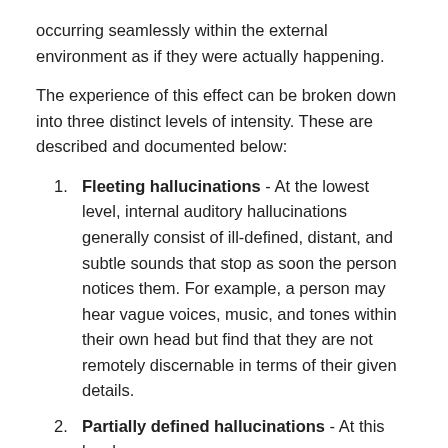occurring seamlessly within the external environment as if they were actually happening.
The experience of this effect can be broken down into three distinct levels of intensity. These are described and documented below:
Fleeting hallucinations - At the lowest level, internal auditory hallucinations generally consist of ill-defined, distant, and subtle sounds that stop as soon the person notices them. For example, a person may hear vague voices, music, and tones within their own head but find that they are not remotely discernable in terms of their given details.
Partially defined hallucinations - At this level,